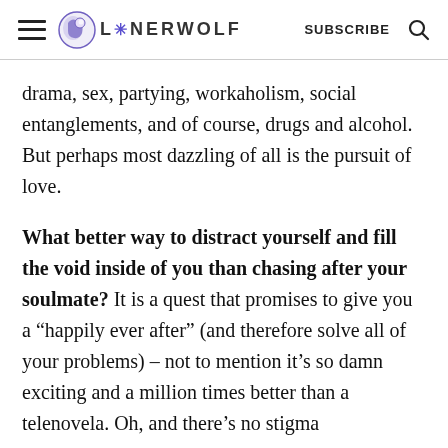LONERWOLF | SUBSCRIBE
drama, sex, partying, workaholism, social entanglements, and of course, drugs and alcohol. But perhaps most dazzling of all is the pursuit of love.
What better way to distract yourself and fill the void inside of you than chasing after your soulmate? It is a quest that promises to give you a “happily ever after” (and therefore solve all of your problems) – not to mention it’s so damn exciting and a million times better than a telenovela. Oh, and there’s no stigma